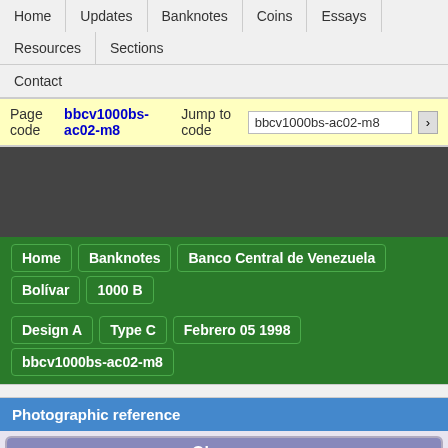Home | Updates | Banknotes | Coins | Essays | Resources | Sections | Contact
Page code bbcv1000bs-ac02-m8  Jump to code bbcv1000bs-ac02-m8
[Figure (other): Dark banner advertisement area]
Home > Banknotes > Banco Central de Venezuela > Bolívar > 1000 B > Design A > Type C > Febrero 05 1998 > bbcv1000bs-ac02-m8
Photographic reference
[Figure (photo): Obverse of a 1000 Bolivares banknote from Banco Central de Venezuela. Shows portrait of Simón Bolívar on left, script text 'Mil Bolivares' in center, serial number M9864888 on upper right, denomination '1000' on lower left.]